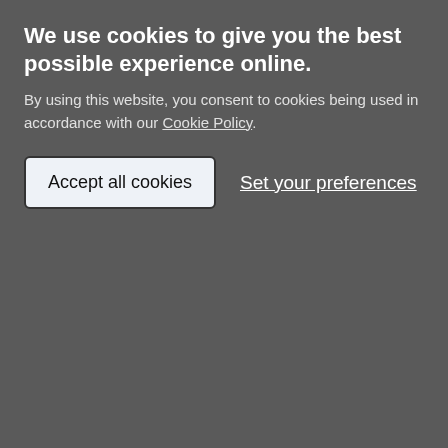[Figure (screenshot): Cookie consent banner overlay on a grey background with title 'We use cookies to give you the best possible experience online.', body text about cookie policy, and two buttons: 'Accept all cookies' and 'Set your preferences']
MDV40469   Little Bownay, Shillingford St. George
MDV29217   Little Greyhouse, Sigford (Building)
MDV14661   Little Thatch, Tawstock (Building)
MDV121809  Little Theatre, later Meadow View Ch
MDV122099  Little Venn Farm, Cheriton Fitzpaine
MDV122914  Little Westcott, Bridford (Building)
MDV123103  Lock keepers cottage, Lumburn Aque
MDV122132  Locksbeam Farmstead, (Building)
MDV30036   Longhouse at Stone, Widecombe in t
MDV122410  Longstone Lane, Georgeham, Devon
MDV6149    Longstone on Shovel Down, Chagfor
MDV121154  Lopes Cottage and Lopes House, Be
MDV29752   Lower Aish Guest House, Poundsgate
MDV122085  Lower Lodge, Stover Park (Building)
MDV123150  Lower Lumburn Bridge (Monument)
MDV33462   Lower Priestacott farmhouse, Belston
MDV40329   Lowton farmhouse, Moretonhampste